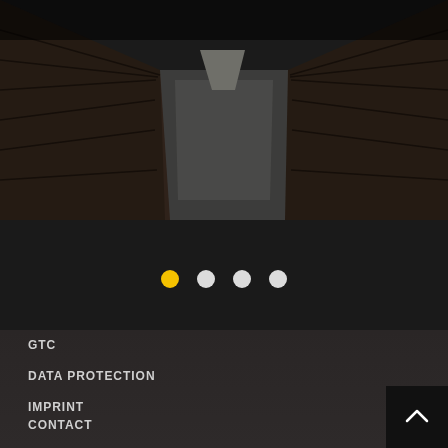[Figure (photo): Perspective view looking down a narrow concrete corridor/alleyway flanked by brick walls on both sides, dark and moody lighting]
[Figure (infographic): Slideshow navigation dots: one yellow/gold dot (active) and three white dots]
GTC
DATA PROTECTION
IMPRINT
CONTACT